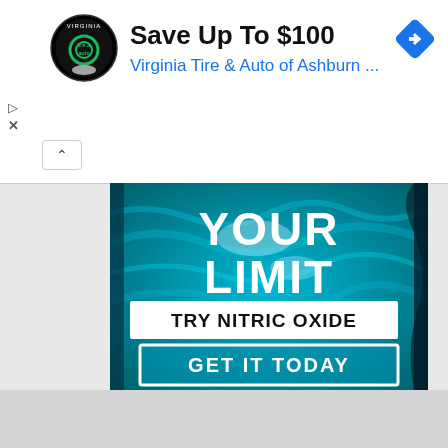[Figure (screenshot): Google ad unit header showing Virginia Tire & Auto of Ashburn logo, 'Save Up To $100' title, blue navigation icon, ad controls (play/close), and collapse arrow button]
Save Up To $100
Virginia Tire & Auto of Ashburn ...
[Figure (illustration): Advertisement image with teal/blue water texture background showing bold white text 'YOUR LIMIT', below it a white rectangle with black bold text 'TRY NITRIC OXIDE', and below that a white-bordered rectangle with white text 'GET IT TODAY']